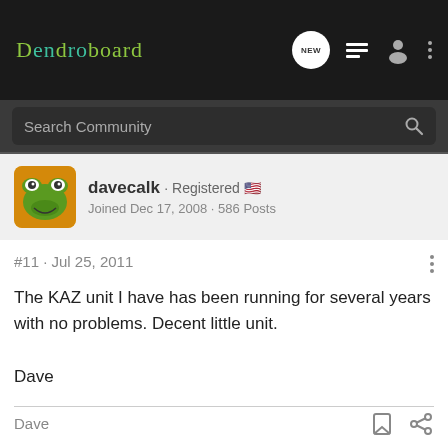Dendroboard
Search Community
davecalk · Registered 🇺🇸
Joined Dec 17, 2008 · 586 Posts
#11 · Jul 25, 2011
The KAZ unit I have has been running for several years with no problems. Decent little unit.

Dave
Dave